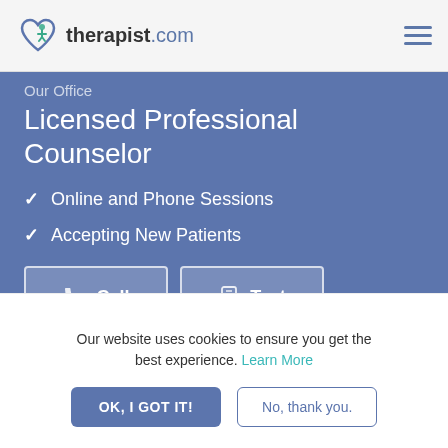therapist.com
Licensed Professional Counselor
Online and Phone Sessions
Accepting New Patients
Our website uses cookies to ensure you get the best experience. Learn More
OK, I GOT IT!
No, thank you.